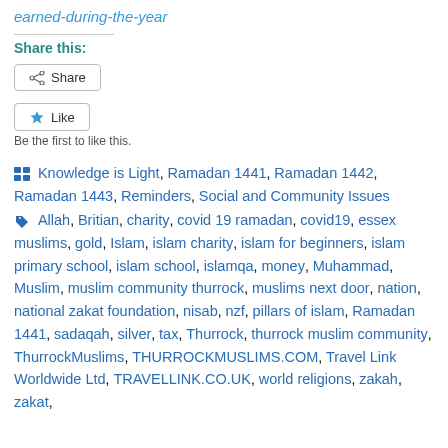earned-during-the-year
Share this:
Share
Like
Be the first to like this.
Knowledge is Light, Ramadan 1441, Ramadan 1442, Ramadan 1443, Reminders, Social and Community Issues
Allah, Britian, charity, covid 19 ramadan, covid19, essex muslims, gold, Islam, islam charity, islam for beginners, islam primary school, islam school, islamqa, money, Muhammad, Muslim, muslim community thurrock, muslims next door, nation, national zakat foundation, nisab, nzf, pillars of islam, Ramadan 1441, sadaqah, silver, tax, Thurrock, thurrock muslim community, ThurrockMuslims, THURROCKMUSLIMS.COM, Travel Link Worldwide Ltd, TRAVELLINK.CO.UK, world religions, zakah, zakat,